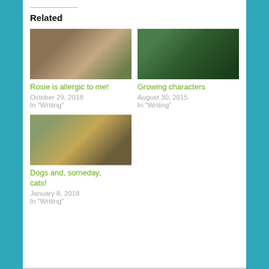Related
[Figure (photo): Outdoor patio scene with a dog and garden furniture]
Rosie is allergic to me!
October 29, 2018
In "Writing"
[Figure (photo): Tree branches with dark green foliage against a grey sky]
Growing characters
August 30, 2015
In "Writing"
[Figure (photo): Dogs on rocky terrain with dry grass and hills in background]
Dogs and, someday, cats!
January 8, 2018
In "Writing"